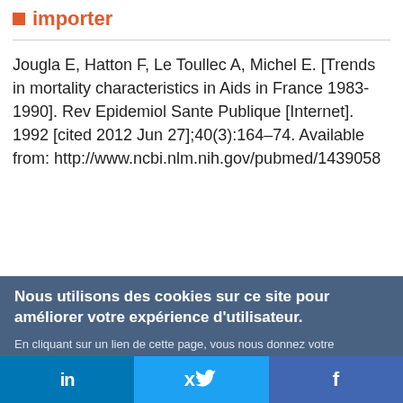importer
Jougla E, Hatton F, Le Toullec A, Michel E. [Trends in mortality characteristics in Aids in France 1983-1990]. Rev Epidemiol Sante Publique [Internet]. 1992 [cited 2012 Jun 27];40(3):164–74. Available from: http://www.ncbi.nlm.nih.gov/pubmed/1439058
Nous utilisons des cookies sur ce site pour améliorer votre expérience d'utilisateur.
En cliquant sur un lien de cette page, vous nous donnez votre consentement de définir des cookies.
Oui, je suis d'accord
Plus d'infos